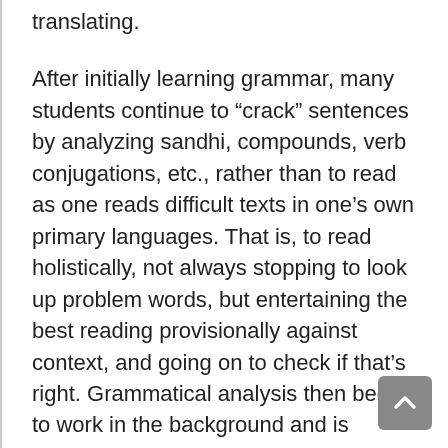translating.
After initially learning grammar, many students continue to “crack” sentences by analyzing sandhi, compounds, verb conjugations, etc., rather than to read as one reads difficult texts in one’s own primary languages. That is, to read holistically, not always stopping to look up problem words, but entertaining the best reading provisionally against context, and going on to check if that’s right. Grammatical analysis then begins to work in the background and is foregrounded in cases where there is difficulty.
When I was in graduate school I was at a translation session for the VīmalakīrtinirdeśaSūtra at the Mangalam Research Center and I asked the late Michael Hahn a similar question. He smiled and, if my memory serves me correctly, suggested that really good reading facility with Sanskrit required at least ten